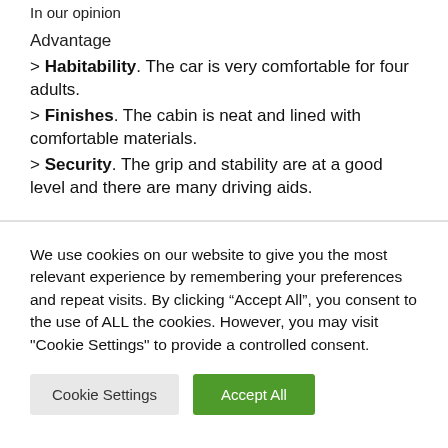In our opinion
Advantage
> Habitability. The car is very comfortable for four adults.
> Finishes. The cabin is neat and lined with comfortable materials.
> Security. The grip and stability are at a good level and there are many driving aids.
We use cookies on our website to give you the most relevant experience by remembering your preferences and repeat visits. By clicking “Accept All”, you consent to the use of ALL the cookies. However, you may visit "Cookie Settings" to provide a controlled consent.